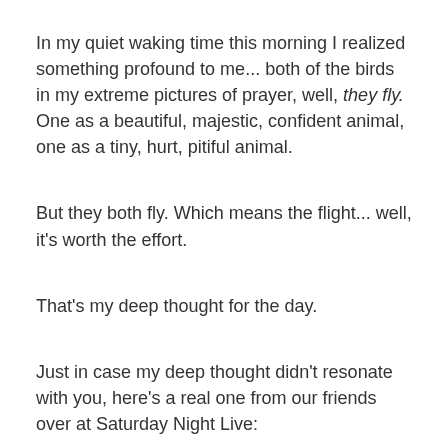In my quiet waking time this morning I realized something profound to me... both of the birds in my extreme pictures of prayer, well, they fly. One as a beautiful, majestic, confident animal, one as a tiny, hurt, pitiful animal.
But they both fly. Which means the flight... well, it's worth the effort.
That's my deep thought for the day.
Just in case my deep thought didn't resonate with you, here's a real one from our friends over at Saturday Night Live: